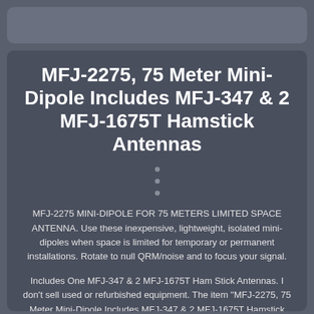MFJ-2275, 75 Meter Mini-Dipole Includes MFJ-347 & 2 MFJ-1675T Hamstick Antennas
MFJ-2275 MINI-DIPOLE FOR 75 METERS LIMITED SPACE ANTENNA. Use these inexpensive, lightweight, isolated mini-dipoles when space is limited for temporary or permanent installations. Rotate to null QRM/noise and to focus your signal.
Includes One MFJ-347 & 2 MFJ-1675T Ham Stick Antennas. I don't sell used or refurbished equipment. The item "MFJ-2275, 75 Meter Mini-Dipole Includes MFJ-347 & 2 MFJ-1675T Hamstick Antennas" is in sale since Thursday, October 26, 2017. This item is in the category "Consumer Electronics\Radio Communication\Ham, Amateur Radio\Other Ham Radio Equipment".